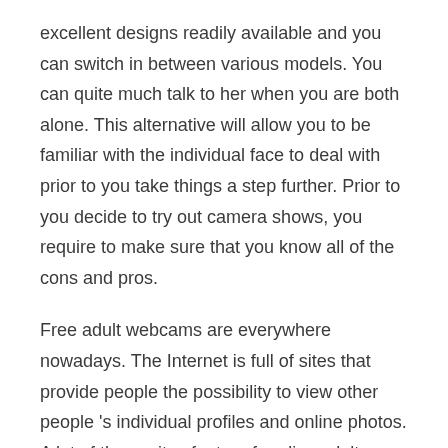excellent designs readily available and you can switch in between various models. You can quite much talk to her when you are both alone. This alternative will allow you to be familiar with the individual face to deal with prior to you take things a step further. Prior to you decide to try out camera shows, you require to make sure that you know all of the cons and pros.
Free adult webcams are everywhere nowadays. The Internet is full of sites that provide people the possibility to view other people 's individual profiles and online photos. A lot of these sites feature free live adult cams for you to use at anytime. There are many individuals out there who don 't understand that using a complimentary adult web cam can be unsafe. So, what should you do?
First, you need to learn which websites are safe to use. There are lots of credible and recognized sites that use webcams for you to view. You will most likely be asked to supply your name, e-mail